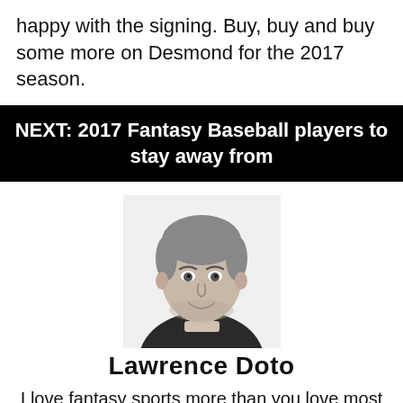happy with the signing. Buy, buy and buy some more on Desmond for the 2017 season.
NEXT: 2017 Fantasy Baseball players to stay away from
[Figure (photo): Black and white headshot photo of Lawrence Doto, a young man smiling, wearing a jacket]
Lawrence Doto
I love fantasy sports more than you love most things in life. I am great at giving fantasy advice because if it doesn't work out, it's the players fault not mine. I love to help others with their fantasy sports questions and instead of following politics or other important topics